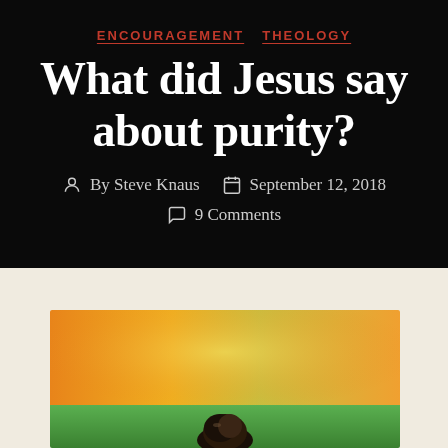ENCOURAGEMENT   THEOLOGY
What did Jesus say about purity?
By Steve Knaus   September 12, 2018
9 Comments
[Figure (photo): A colorful photo with orange, yellow, green gradient background with a dark rocky or stone-like object at the bottom center]